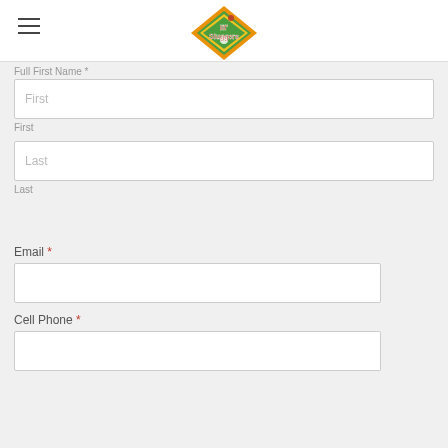[Figure (logo): Lil' Sluggers baseball logo - diamond shaped logo with green, yellow, orange colors and red text]
Full First Name *
First
First
Last
Last
Email *
Cell Phone *